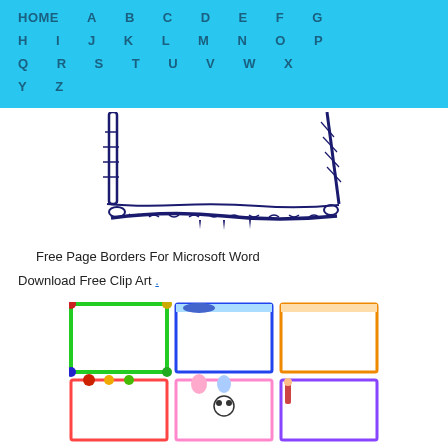HOME A B C D E F G H I J K L M N O P Q R S T U V W X Y Z
[Figure (illustration): Rope border frame illustration showing a decorative rope border with knots at corners and bottom]
Free Page Borders For Microsoft Word Download Free Clip Art .
[Figure (illustration): Collection of colorful clip art page borders with cartoon characters and animals arranged in a grid]